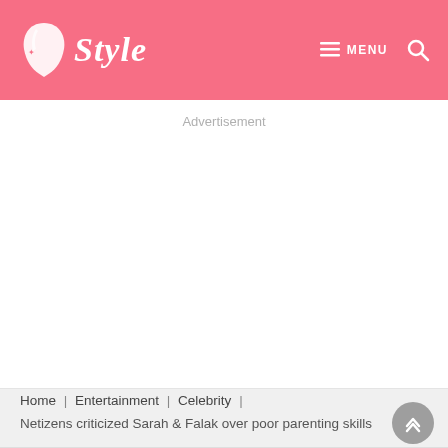Style — MENU (search icon)
Advertisement
Home | Entertainment | Celebrity |
Netizens criticized Sarah & Falak over poor parenting skills